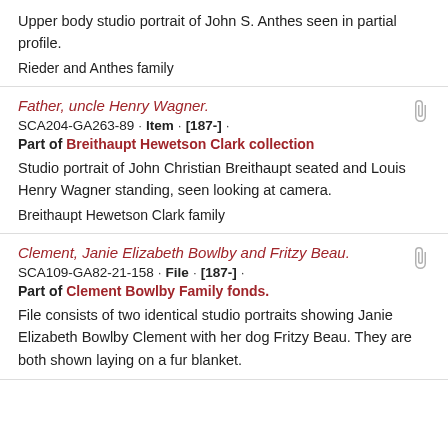Upper body studio portrait of John S. Anthes seen in partial profile.
Rieder and Anthes family
Father, uncle Henry Wagner.
SCA204-GA263-89 · Item · [187-] ·
Part of Breithaupt Hewetson Clark collection
Studio portrait of John Christian Breithaupt seated and Louis Henry Wagner standing, seen looking at camera.
Breithaupt Hewetson Clark family
Clement, Janie Elizabeth Bowlby and Fritzy Beau.
SCA109-GA82-21-158 · File · [187-] ·
Part of Clement Bowlby Family fonds.
File consists of two identical studio portraits showing Janie Elizabeth Bowlby Clement with her dog Fritzy Beau. They are both shown laying on a fur blanket.